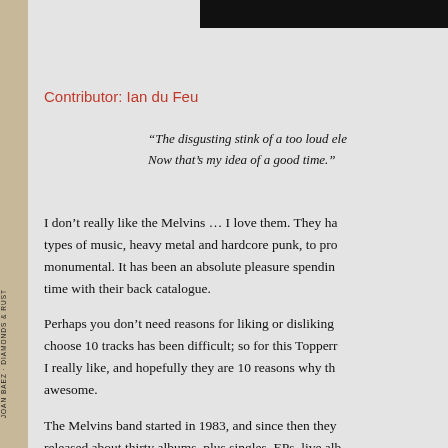Contributor: Ian du Feu
“The disgusting stink of a too loud ele… Now that’s my idea of a good time.”
I don’t really like the Melvins … I love them. They ha… types of music, heavy metal and hardcore punk, to pro… monumental. It has been an absolute pleasure spendin… time with their back catalogue.
Perhaps you don’t need reasons for liking or disliking… choose 10 tracks has been difficult; so for this Topperr… I really like, and hopefully they are 10 reasons why th… awesome.
The Melvins band started in 1983, and since then they… released about thirty albums, plus singles, EPs, live alb… solo work, collaborated with other artists and had teen… 1984. Buzz Osborne (guitar & vocals) and Dale Cro…